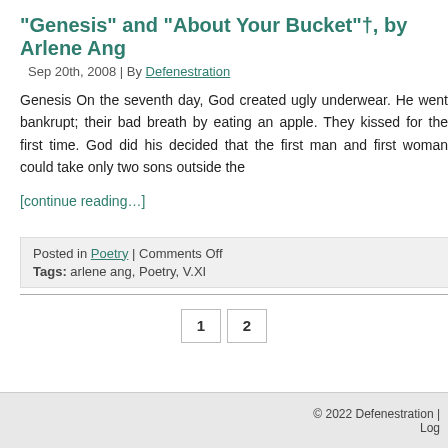“Genesis” and “About Your Bucket”†, by Arlene Ang
Sep 20th, 2008 | By Defenestration
Genesis On the seventh day, God created ugly underwear. He went bankrupt; their bad breath by eating an apple. They kissed for the first time. God did his decided that the first man and first woman could take only two sons outside the
[continue reading…]
Posted in Poetry | Comments Off
Tags: arlene ang, Poetry, V.XI
1  2
© 2022 Defenestration |
Log